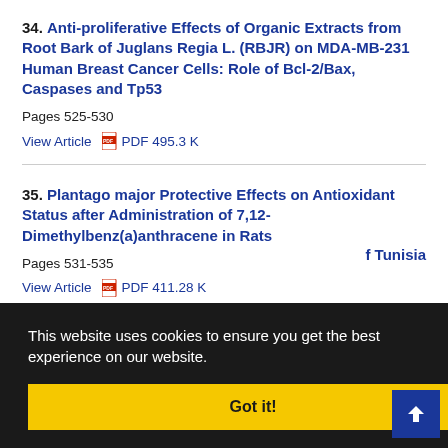34. Anti-proliferative Effects of Organic Extracts from Root Bark of Juglans Regia L. (RBJR) on MDA-MB-231 Human Breast Cancer Cells: Role of Bcl-2/Bax, Caspases and Tp53
Pages 525-530
View Article  PDF 495.3 K
35. Plantago major Protective Effects on Antioxidant Status after Administration of 7,12-Dimethylbenz(a)anthracene in Rats
Pages 531-535
View Article  PDF 411.28 K
f Tunisia
This website uses cookies to ensure you get the best experience on our website.
Got it!